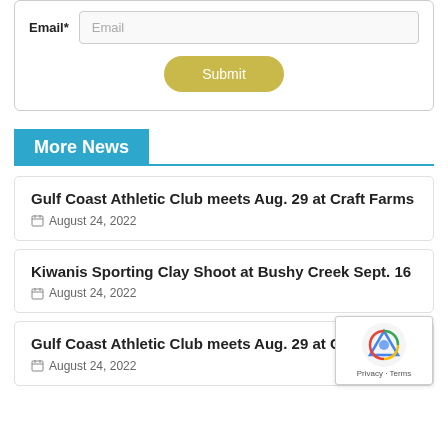Email*
Email
Submit
More News
Gulf Coast Athletic Club meets Aug. 29 at Craft Farms
August 24, 2022
Kiwanis Sporting Clay Shoot at Bushy Creek Sept. 16
August 24, 2022
Gulf Coast Athletic Club meets Aug. 29 at Craft Farms
August 24, 2022